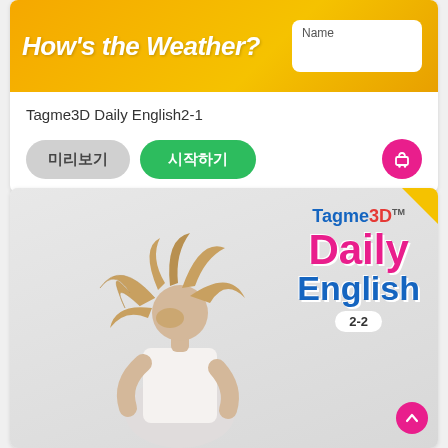[Figure (screenshot): Yellow banner with text How's the Weather? and a Name input box]
Tagme3D Daily English2-1
미리보기
시작하기
[Figure (photo): Book cover for Tagme3D Daily English 2-2 showing a girl with flowing hair in a white top on a light grey background, with the Tagme3D Daily English 2-2 logo in the upper right]